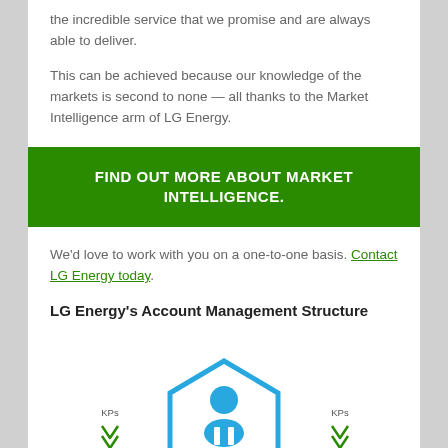the incredible service that we promise and are always able to deliver.
This can be achieved because our knowledge of the markets is second to none — all thanks to the Market Intelligence arm of LG Energy.
FIND OUT MORE ABOUT MARKET INTELLIGENCE.
We'd love to work with you on a one-to-one basis. Contact LG Energy today.
LG Energy's Account Management Structure
[Figure (organizational-chart): Organizational chart showing Account Manager in a blue hexagon at the center, with KPs arrows pointing down on the left and right, and three red hexagons partially visible at the bottom.]